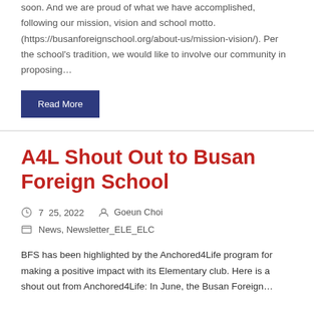soon. And we are proud of what we have accomplished, following our mission, vision and school motto. (https://busanforeignschool.org/about-us/mission-vision/). Per the school's tradition, we would like to involve our community in proposing...
Read More
A4L Shout Out to Busan Foreign School
7  25, 2022   Goeun Choi
News, Newsletter_ELE_ELC
BFS has been highlighted by the Anchored4Life program for making a positive impact with its Elementary club. Here is a shout out from Anchored4Life: In June, the Busan Foreign...